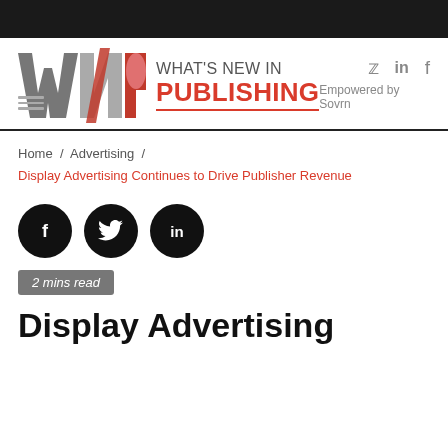[Figure (logo): What's New in Publishing logo with stylized WNP letters and text]
WHAT'S NEW IN PUBLISHING — Empowered by Sovrn
Home / Advertising / Display Advertising Continues to Drive Publisher Revenue
[Figure (infographic): Social share buttons: Facebook, Twitter, LinkedIn (black circles)]
2 mins read
Display Advertising